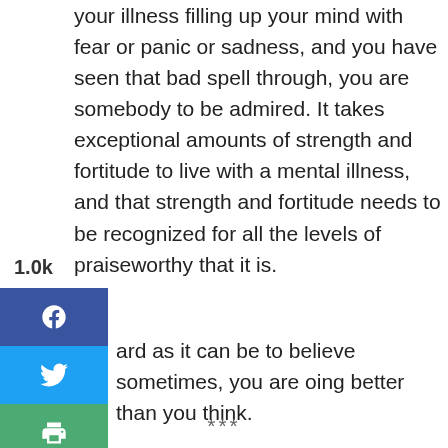your illness filling up your mind with fear or panic or sadness, and you have seen that bad spell through, you are somebody to be admired. It takes exceptional amounts of strength and fortitude to live with a mental illness, and that strength and fortitude needs to be recognized for all the levels of praiseworthy that it is.
ard as it can be to believe sometimes, you are oing better than you think.
***
In order to continue producing high quality content and expanding the message of radical, unapologetic self-love, we need to build a